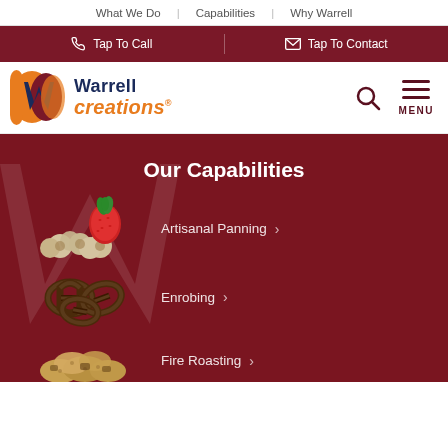What We Do | Capabilities | Why Warrell
Tap To Call | Tap To Contact
[Figure (logo): Warrell Creations logo with stylized W icon in orange and dark blue, company name in dark blue and orange italic]
Our Capabilities
Artisanal Panning
Enrobing
Fire Roasting